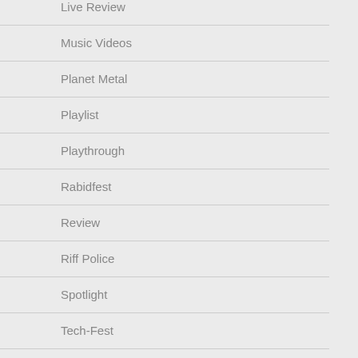Live Review
Music Videos
Planet Metal
Playlist
Playthrough
Rabidfest
Review
Riff Police
Spotlight
Tech-Fest
The Artwork That Should Not Be
The Black Map